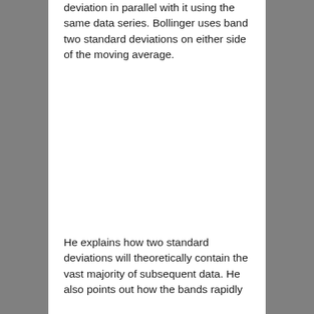deviation in parallel with it using the same data series. Bollinger uses band two standard deviations on either side of the moving average.
He explains how two standard deviations will theoretically contain the vast majority of subsequent data. He also points out how the bands rapidly